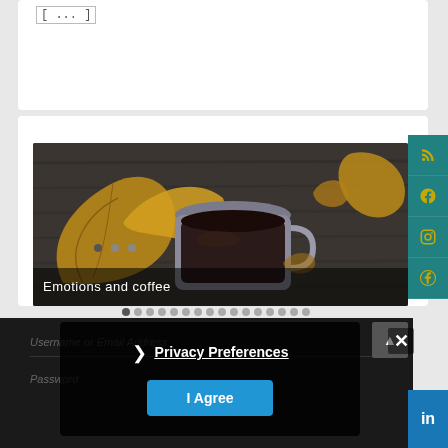[Figure (screenshot): Top card area with bracket symbol [...] visible at top-left]
[Figure (photo): Photograph of autumn leaves and a coffee cup on a dark wooden surface, captioned 'Emotions and coffee']
Emotions and coffee
Username or Email Address
Password
Privacy Preferences
I Agree